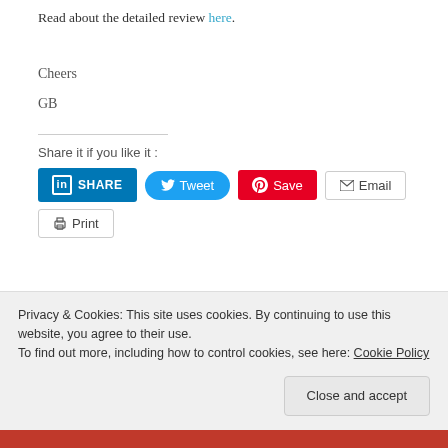Read about the detailed review here.
Cheers
GB
Share it if you like it :
[Figure (screenshot): Social share buttons: LinkedIn SHARE, Tweet, Pinterest Save, Email, Print]
Privacy & Cookies: This site uses cookies. By continuing to use this website, you agree to their use. To find out more, including how to control cookies, see here: Cookie Policy
Close and accept